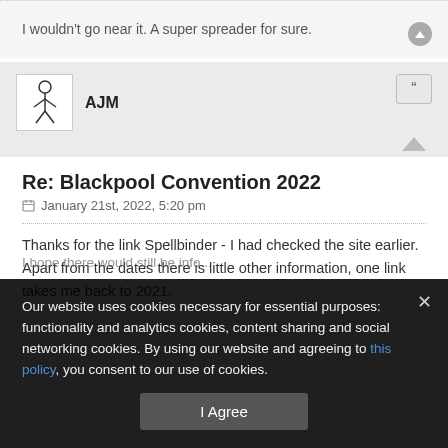I wouldn't go near it. A super spreader for sure.
Re: Blackpool Convention 2022
January 21st, 2022, 5:20 pm
Thanks for the link Spellbinder - I had checked the site earlier. Apart from the dates there is little other information, one link takes me back to 2021.
Our website uses cookies necessary for essential purposes: functionality and analytics cookies, content sharing and social networking cookies. By using our website and agreeing to this policy, you consent to our use of cookies.